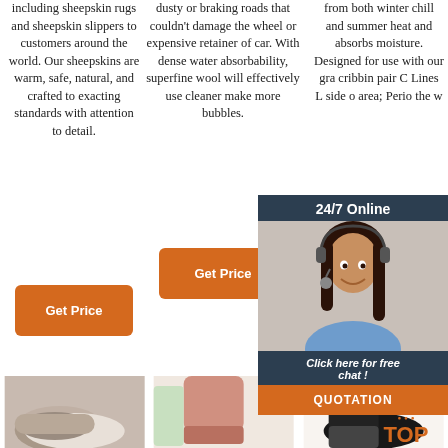including sheepskin rugs and sheepskin slippers to customers around the world. Our sheepskins are warm, safe, natural, and crafted to exacting standards with attention to detail.
dusty or braking roads that couldn't damage the wheel or expensive retainer of car. With dense water absorbability, superfine wool will effectively use cleaner make more bubbles.
from both winter chill and summer heat and absorbs moisture. Designed for use with our grade cribbing pair Cl Lines L side o areas Period the w
[Figure (screenshot): Live chat widget overlay with agent photo, '24/7 Online' header, 'Click here for free chat!' text, and QUOTATION button]
[Figure (illustration): Bottom-of-page scroll-to-top button with orange dots and TOP label]
[Figure (photo): Three product thumbnail images at bottom: sheepskin slippers, pink boot, black boot]